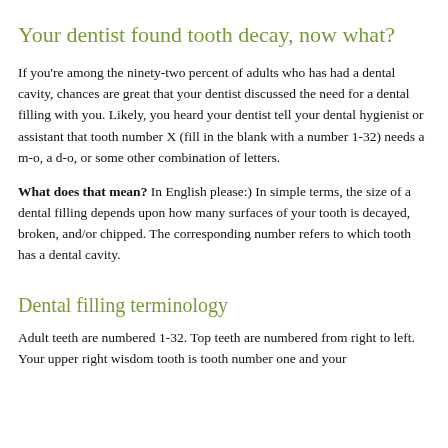Your dentist found tooth decay, now what?
If you're among the ninety-two percent of adults who has had a dental cavity, chances are great that your dentist discussed the need for a dental filling with you. Likely, you heard your dentist tell your dental hygienist or assistant that tooth number X (fill in the blank with a number 1-32) needs a m-o, a d-o, or some other combination of letters.
What does that mean? In English please:) In simple terms, the size of a dental filling depends upon how many surfaces of your tooth is decayed, broken, and/or chipped. The corresponding number refers to which tooth has a dental cavity.
Dental filling terminology
Adult teeth are numbered 1-32. Top teeth are numbered from right to left. Your upper right wisdom tooth is tooth number one and your